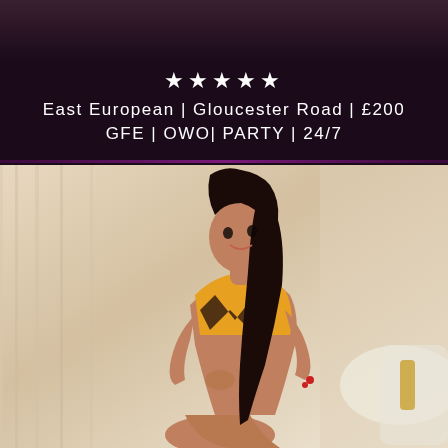[Figure (photo): Partial top photo - dark background image cropped at top]
★★★★★
East European | Gloucester Road | £200
GFE | OWO| PARTY | 24/7
[Figure (photo): Woman with dark hair wearing yellow top, seated on white ornate chair]